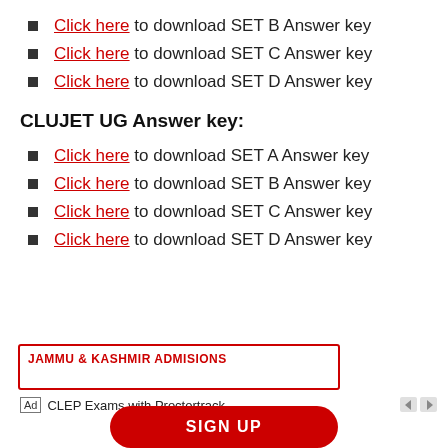Click here to download SET B Answer key
Click here to download SET C Answer key
Click here to download SET D Answer key
CLUJET UG Answer key:
Click here to download SET A Answer key
Click here to download SET B Answer key
Click here to download SET C Answer key
Click here to download SET D Answer key
[Figure (other): Advertisement box with red border showing JAMMU & KASHMIR ADMISSIONS text, with Ad label, CLEP Exams with Proctortrack text, navigation arrows, and a red SIGN UP button]